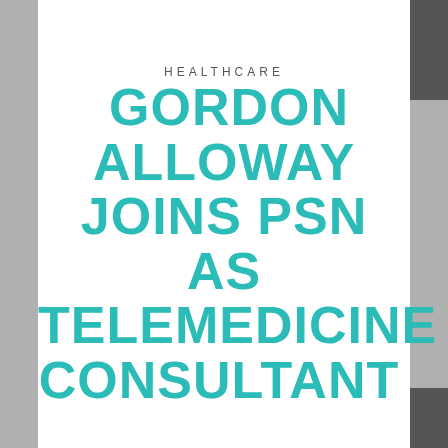HEALTHCARE
GORDON ALLOWAY JOINS PSN AS TELEMEDICINE CONSULTANT